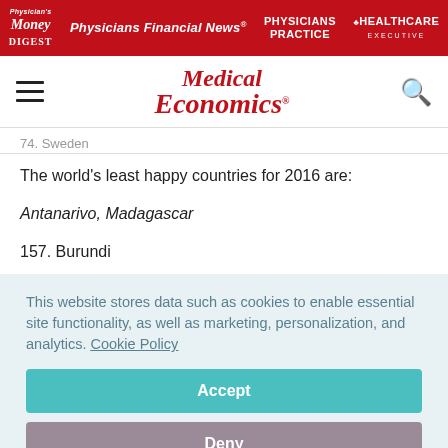Physician's Money Digest | Physicians Financial News | Physicians Practice | Healthcare Executive
Medical Economics
74. Sweden
The world's least happy countries for 2016 are:
Antanarivo, Madagascar
157. Burundi
This website stores data such as cookies to enable essential site functionality, as well as marketing, personalization, and analytics. Cookie Policy
Accept
Deny